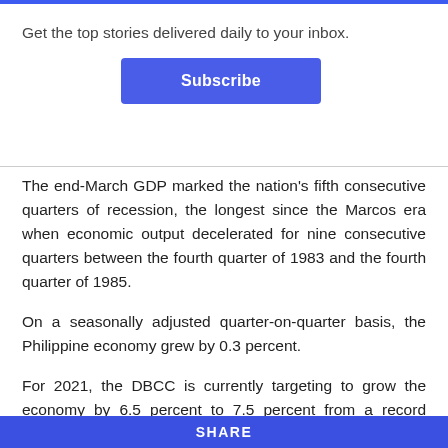Get the top stories delivered daily to your inbox.
[Figure (other): Subscribe button — blue rounded rectangle with white bold text 'Subscribe']
The end-March GDP marked the nation's fifth consecutive quarters of recession, the longest since the Marcos era when economic output decelerated for nine consecutive quarters between the fourth quarter of 1983 and the fourth quarter of 1985.
On a seasonally adjusted quarter-on-quarter basis, the Philippine economy grew by 0.3 percent.
For 2021, the DBCC is currently targeting to grow the economy by 6.5 percent to 7.5 percent from a record contraction of 9.5 percent last year. The GDP needs to
SHARE